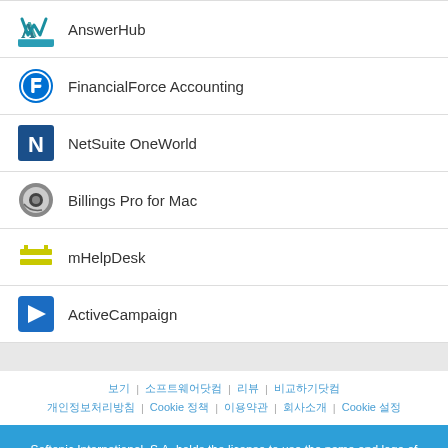AnswerHub
FinancialForce Accounting
NetSuite OneWorld
Billings Pro for Mac
mHelpDesk
ActiveCampaign
Softonic International, S.A. holds the license to use the name and logo of Filehippo.